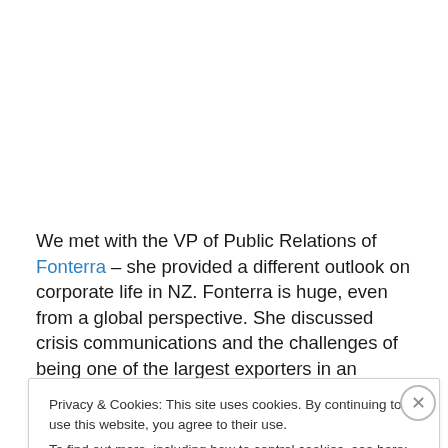We met with the VP of Public Relations of Fonterra – she provided a different outlook on corporate life in NZ. Fonterra is huge, even from a global perspective. She discussed crisis communications and the challenges of being one of the largest exporters in an export-centric economy.
Lunch was hosted by the University of Auckland School of
Privacy & Cookies: This site uses cookies. By continuing to use this website, you agree to their use.
To find out more, including how to control cookies, see here: Cookie Policy